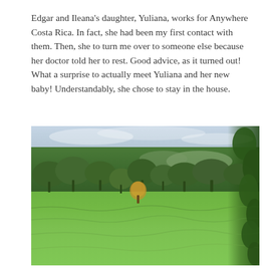Edgar and Ileana's daughter, Yuliana, works for Anywhere Costa Rica. In fact, she had been my first contact with them. Then, she to turn me over to someone else because her doctor told her to rest. Good advice, as it turned out! What a surprise to actually meet Yuliana and her new baby! Understandably, she chose to stay in the house.
[Figure (photo): A lush green pastoral landscape in Costa Rica showing a wide meadow with bright green grass, a band of mature tropical trees in the middle ground, and a cloudy overcast sky. Dense leafy foliage is visible on the right edge of the frame.]